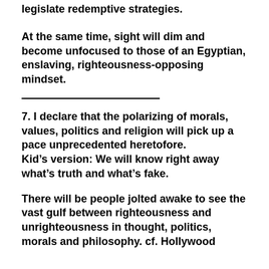legislate redemptive strategies.
At the same time, sight will dim and become unfocused to those of an Egyptian, enslaving, righteousness-opposing mindset.
7. I declare that the polarizing of morals, values, politics and religion will pick up a pace unprecedented heretofore.
Kid’s version: We will know right away what’s truth and what’s fake.
There will be people jolted awake to see the vast gulf between righteousness and unrighteousness in thought, politics, morals and philosophy. cf. Hollywood